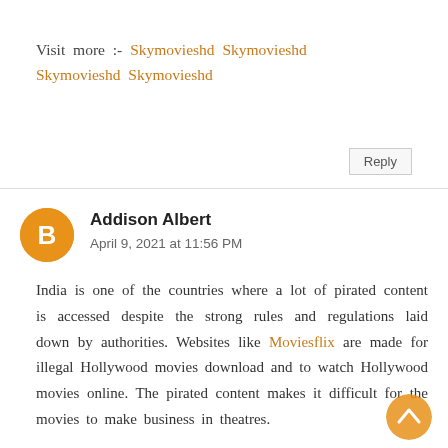Visit more :- Skymovieshd Skymovieshd Skymovieshd Skymovieshd
Reply
Addison Albert
April 9, 2021 at 11:56 PM
India is one of the countries where a lot of pirated content is accessed despite the strong rules and regulations laid down by authorities. Websites like Moviesflix are made for illegal Hollywood movies download and to watch Hollywood movies online. The pirated content makes it difficult for the movies to make business in theatres.